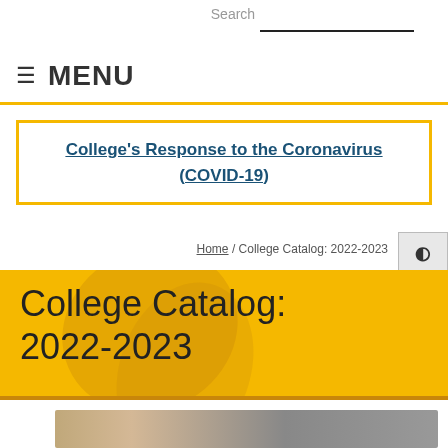Search
≡ MENU
College's Response to the Coronavirus (COVID-19)
Home / College Catalog: 2022-2023
College Catalog: 2022-2023
[Figure (photo): Photo of students or faculty in a classroom or campus setting]